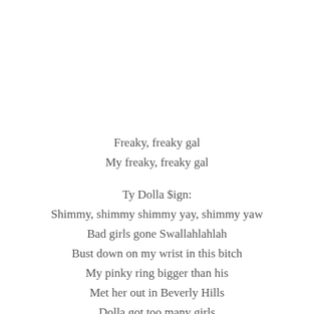Freaky, freaky gal
My freaky, freaky gal

Ty Dolla $ign:
Shimmy, shimmy shimmy yay, shimmy yaw
Bad girls gone Swallahlahlah
Bust down on my wrist in this bitch
My pinky ring bigger than his
Met her out in Beverly Hills
Dolla got too many girls